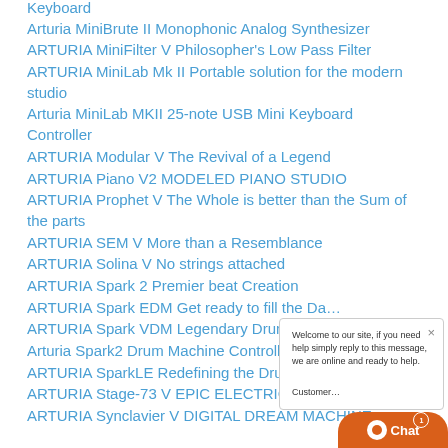Keyboard
Arturia MiniBrute II Monophonic Analog Synthesizer
ARTURIA MiniFilter V Philosopher's Low Pass Filter
ARTURIA MiniLab Mk II Portable solution for the modern studio
Arturia MiniLab MKII 25-note USB Mini Keyboard Controller
ARTURIA Modular V The Revival of a Legend
ARTURIA Piano V2 MODELED PIANO STUDIO
ARTURIA Prophet V The Whole is better than the Sum of the parts
ARTURIA SEM V More than a Resemblance
ARTURIA Solina V No strings attached
ARTURIA Spark 2 Premier beat Creation
ARTURIA Spark EDM Get ready to fill the Da…
ARTURIA Spark VDM Legendary Drum Mac…
Arturia Spark2 Drum Machine Controller
ARTURIA SparkLE Redefining the Drum Mac…
ARTURIA Stage-73 V EPIC ELECTRIC PIANO
ARTURIA Synclavier V DIGITAL DREAM MACHINE…
[Figure (screenshot): Chat widget popup with text: Welcome to our site, if you need help simply reply to this message, we are online and ready to help. Customer support chat button with orange background and '1' badge.]